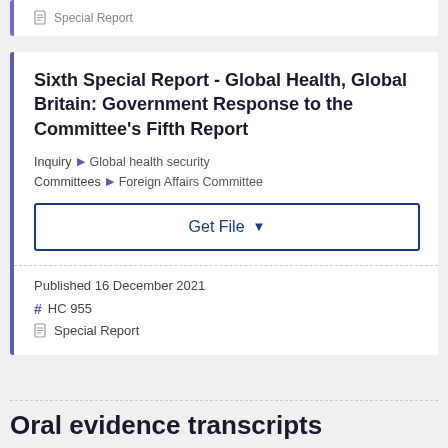Special Report
Sixth Special Report - Global Health, Global Britain: Government Response to the Committee's Fifth Report
Inquiry ▶ Global health security
Committees ▶ Foreign Affairs Committee
Get File ▼
Published 16 December 2021
# HC 955
Special Report
Oral evidence transcripts